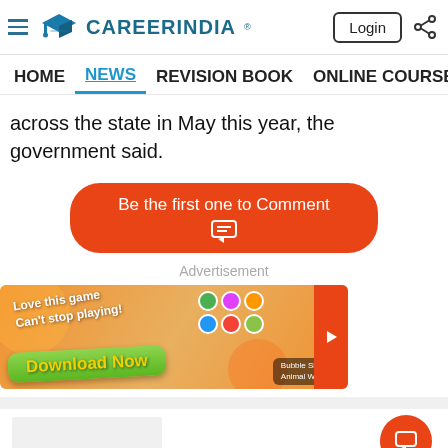CareerIndia - Login
HOME  NEWS  REVISION BOOK  ONLINE COURSES  NE
across the state in May this year, the government said.
Be the first one to Comment
Advertisement
[Figure (illustration): Mobile game advertisement banner: orange background with colorful candy/bubble game graphics. Text reads 'Love this game Can't stop playing!' and 'Download Now'. App labeled 'Bubble Shooter Animal World'.]
[Figure (illustration): Orange floating action button with chat/comment icon at bottom right of screen.]
[Figure (logo): CareerIndia logo at bottom of page]